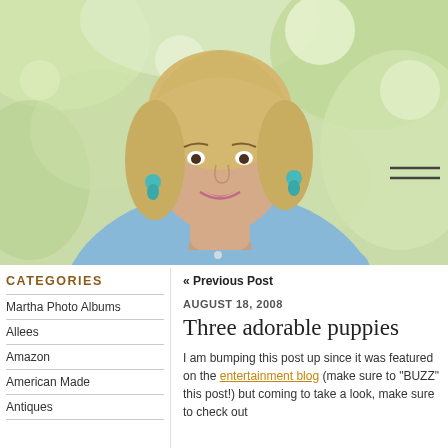[Figure (photo): A smiling blonde woman wearing a light blue linen shirt and turquoise earrings, posed against a blurred green outdoor background.]
CATEGORIES
Martha Photo Albums
Allees
Amazon
American Made
Antiques
« Previous Post
AUGUST 18, 2008
Three adorable puppies
I am bumping this post up since it was featured on the entertainment blog (make sure to "BUZZ" this post!) but coming to take a look, make sure to check out